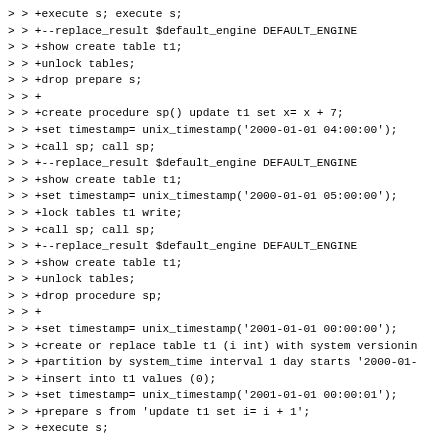> > +execute s; execute s;
> > +--replace_result $default_engine DEFAULT_ENGINE
> > +show create table t1;
> > +unlock tables;
> > +drop prepare s;
> > +
> > +create procedure sp() update t1 set x= x + 7;
> > +set timestamp= unix_timestamp('2000-01-01 04:00:00');
> > +call sp; call sp;
> > +--replace_result $default_engine DEFAULT_ENGINE
> > +show create table t1;
> > +set timestamp= unix_timestamp('2000-01-01 05:00:00');
> > +lock tables t1 write;
> > +call sp; call sp;
> > +--replace_result $default_engine DEFAULT_ENGINE
> > +show create table t1;
> > +unlock tables;
> > +drop procedure sp;
> > +
> > +set timestamp= unix_timestamp('2001-01-01 00:00:00');
> > +create or replace table t1 (i int) with system versionin
> > +partition by system_time interval 1 day starts '2000-01-
> > +insert into t1 values (0);
> > +set timestamp= unix_timestamp('2001-01-01 00:00:01');
> > +prepare s from 'update t1 set i= i + 1';
> > +execute s;